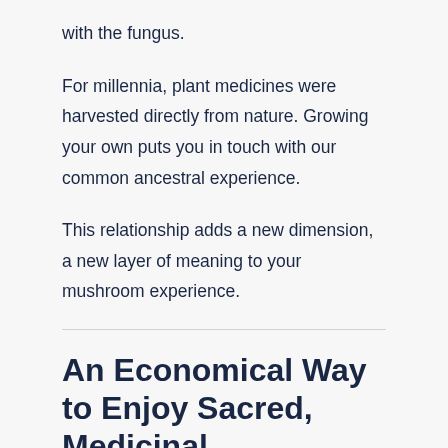with the fungus.
For millennia, plant medicines were harvested directly from nature. Growing your own puts you in touch with our common ancestral experience.
This relationship adds a new dimension, a new layer of meaning to your mushroom experience.
An Economical Way to Enjoy Sacred, Medicinal Mushrooms!
Purchasing quality mushrooms can be expensive.